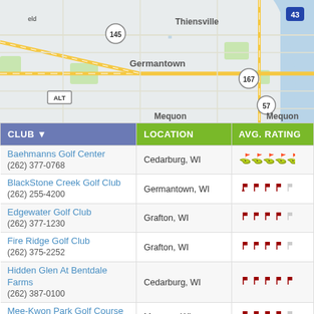[Figure (map): Road map showing Germantown, Thiensville, Mequon area with highways 145, 167, 57, 43 marked]
| CLUB ▼ | LOCATION | AVG. RATING |
| --- | --- | --- |
| Baehmanns Golf Center
(262) 377-0768 | Cedarburg, WI | ☆☆☆☆☆ |
| BlackStone Creek Golf Club
(262) 255-4200 | Germantown, WI | ★★★★☆ |
| Edgewater Golf Club
(262) 377-1230 | Grafton, WI | ★★★★☆ |
| Fire Ridge Golf Club
(262) 375-2252 | Grafton, WI | ★★★★☆ |
| Hidden Glen At Bentdale Farms
(262) 387-0100 | Cedarburg, WI | ★★★★★ |
| Mee-Kwon Park Golf Course
(262) 242-1310 | Mequon, WI | ★★★★☆ |
| Mequon Country Club
(262) 242-2470 | Mequon, WI | ★★★★☆ |
| Mequon Country Club
(262) 242-2470 | Mequon, WI | ☆☆☆☆☆ |
| Mequon Country Club
(262) 242-2470 | Mequon, WI | ☆☆☆☆☆ |